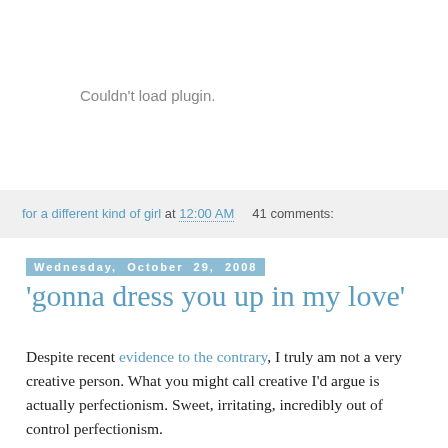[Figure (other): Embedded plugin area showing 'Couldn't load plugin.' message in gray text]
for a different kind of girl at 12:00 AM   41 comments:
Wednesday, October 29, 2008
'gonna dress you up in my love'
Despite recent evidence to the contrary, I truly am not a very creative person. What you might call creative I'd argue is actually perfectionism. Sweet, irritating, incredibly out of control perfectionism.
As a result of this lack of creativity, and ironically, despite the